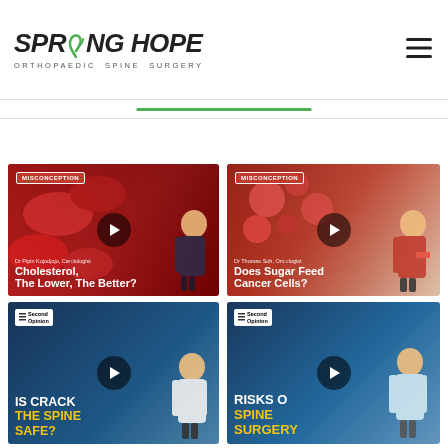[Figure (logo): Spring Hope Orthopaedic Spine Surgery logo with green stylized S and leaf]
[Figure (screenshot): Green horizontal underline bar beneath navigation]
[Figure (photo): Video thumbnail: Dr Pipin Kojodjojo, Cardiologist — 'Cholesterol, The Lower, The Better?' with MISCONCEPTION badge]
[Figure (photo): Video thumbnail: Dr Thomas Soh, Oncologist — 'Does Sugar Feed Cancer Cells?' with MISCONCEPTION badge]
[Figure (photo): Video thumbnail: Second Opinion — 'IS CRACKING THE SPINE SAFE?']
[Figure (photo): Video thumbnail: Second Opinion — 'RISKS OF SPINE SURGERY']